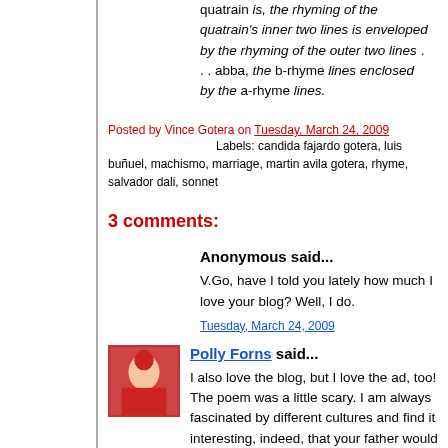quatrain is, the rhyming of the quatrain's inner two lines is enveloped by the rhyming of the outer two lines . . . abba, the b-rhyme lines enclosed by the a-rhyme lines.
Posted by Vince Gotera on Tuesday, March 24, 2009
Labels: candida fajardo gotera, luis buñuel, machismo, marriage, martin avila gotera, rhyme, salvador dali, sonnet
3 comments:
Anonymous said...
V.Go, have I told you lately how much I love your blog? Well, I do.
Tuesday, March 24, 2009
Polly Forns said...
I also love the blog, but I love the ad, too! The poem was a little scary. I am always fascinated by different cultures and find it interesting, indeed, that your father would